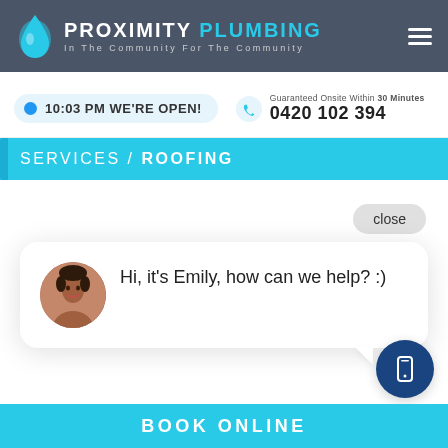[Figure (screenshot): Proximity Plumbing website header with logo, tagline, and hamburger menu on dark gray background]
10:03 PM WE'RE OPEN!
Guaranteed Onsite Within 30 Minutes
0420 102 394
SERVICES / ROOFING
close
Hi, it's Emily, how can we help? :)
BOOK ONLINE